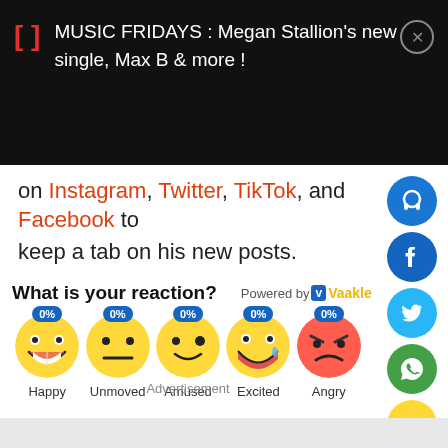MUSIC FRIDAYS : Megan Stallion's new single, Max B & more !
on Instagram, Twitter, TikTok, and Facebook to keep a tab on his new posts.
What is your reaction?
Powered by Vaakle
[Figure (infographic): Row of 5 emoji reaction buttons: Happy 0%, Unmoved 0%, Amused 0%, Excited 0%, Angry 0%]
Advertisement